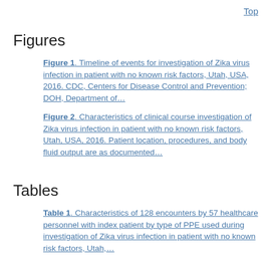Top
Figures
Figure 1. Timeline of events for investigation of Zika virus infection in patient with no known risk factors, Utah, USA, 2016. CDC, Centers for Disease Control and Prevention; DOH, Department of…
Figure 2. Characteristics of clinical course investigation of Zika virus infection in patient with no known risk factors, Utah, USA, 2016. Patient location, procedures, and body fluid output are as documented…
Tables
Table 1. Characteristics of 128 encounters by 57 healthcare personnel with index patient by type of PPE used during investigation of Zika virus infection in patient with no known risk factors, Utah,…